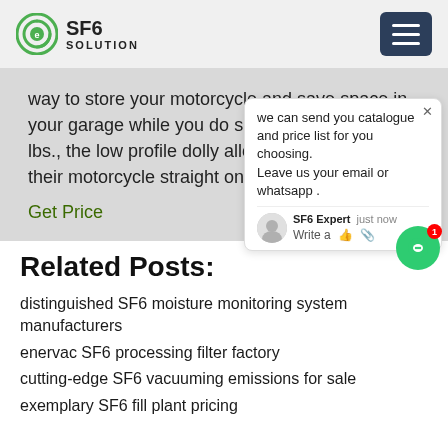SF6 SOLUTION
way to store your motorcycle and save space in your garage while you do so. Holding up to 1250 lbs., the low profile dolly allows the rider to roll their motorcycle straight on or off with mi
Get Price
we can send you catalogue and price list for you choosing. Leave us your email or whatsapp .
Related Posts:
distinguished SF6 moisture monitoring system manufacturers
enervac SF6 processing filter factory
cutting-edge SF6 vacuuming emissions for sale
exemplary SF6 fill plant pricing